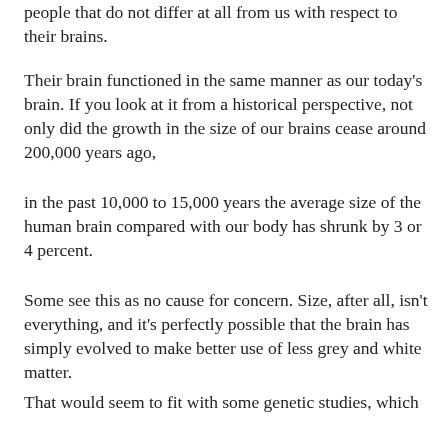people that do not differ at all from us with respect to their brains.
Their brain functioned in the same manner as our today's brain. If you look at it from a historical perspective, not only did the growth in the size of our brains cease around 200,000 years ago,
in the past 10,000 to 15,000 years the average size of the human brain compared with our body has shrunk by 3 or 4 percent.
Some see this as no cause for concern. Size, after all, isn't everything, and it's perfectly possible that the brain has simply evolved to make better use of less grey and white matter.
That would seem to fit with some genetic studies, which suggest that our brain's wiring is more efficient now than it was in the past.
Long ago I already realized that man hasn't changed that much if you look at literature. The stories in ancient books tell the same tales as those in our current books.
The main point is, that the brain hasn't evolved further in the